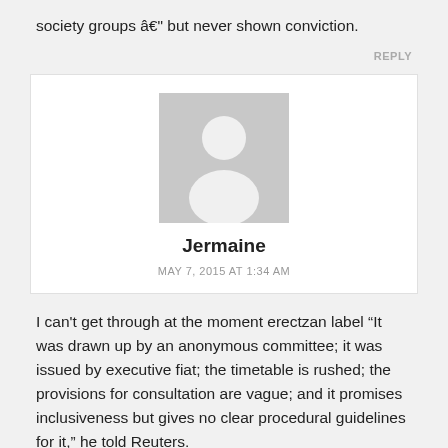society groups â but never shown conviction.
[Figure (illustration): Generic user avatar placeholder — grey square with white silhouette of a person]
Jermaine
MAY 7, 2015 AT 1:34 AM
I can't get through at the moment erectzan label “It was drawn up by an anonymous committee; it was issued by executive fiat; the timetable is rushed; the provisions for consultation are vague; and it promises inclusiveness but gives no clear procedural guidelines for it,” he told Reuters.